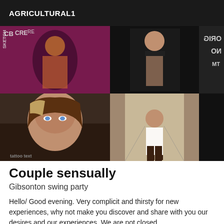AGRICULTURAL1
[Figure (photo): Photo collage showing multiple people in various settings, including a dance/club scene and corridor scene]
Couple sensually
Gibsonton swing party
Hello/ Good evening. Very complicit and thirsty for new experiences, why not make you discover and share with you our desires and our experiences. We are not closed